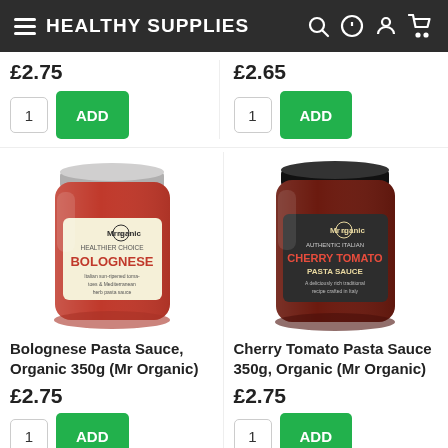HEALTHY SUPPLIES
£2.75
£2.65
1 ADD
1 ADD
[Figure (photo): Jar of Mr Organic Bolognese Pasta Sauce, 350g, with red sauce visible through glass and cream label reading BOLOGNESE]
[Figure (photo): Jar of Mr Organic Cherry Tomato Pasta Sauce, 350g, with dark glass jar and label reading CHERRY TOMATO PASTA SAUCE]
Bolognese Pasta Sauce, Organic 350g (Mr Organic)
Cherry Tomato Pasta Sauce 350g, Organic (Mr Organic)
£2.75
£2.75